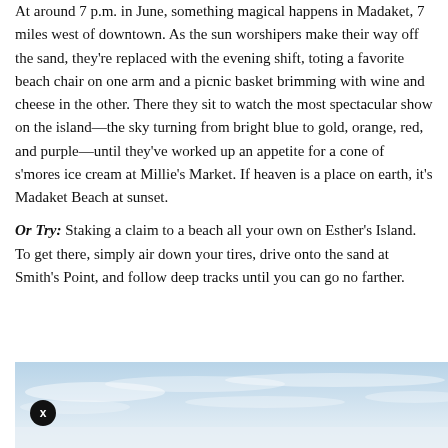At around 7 p.m. in June, something magical happens in Madaket, 7 miles west of downtown. As the sun worshipers make their way off the sand, they're replaced with the evening shift, toting a favorite beach chair on one arm and a picnic basket brimming with wine and cheese in the other. There they sit to watch the most spectacular show on the island—the sky turning from bright blue to gold, orange, red, and purple—until they've worked up an appetite for a cone of s'mores ice cream at Millie's Market. If heaven is a place on earth, it's Madaket Beach at sunset.
Or Try: Staking a claim to a beach all your own on Esther's Island. To get there, simply air down your tires, drive onto the sand at Smith's Point, and follow deep tracks until you can go no farther.
[Figure (photo): Partial view of a sky with light blue tones and wispy clouds, serving as a beach/nature scene image. A small circular close button with 'x' is overlaid in the bottom-left corner.]